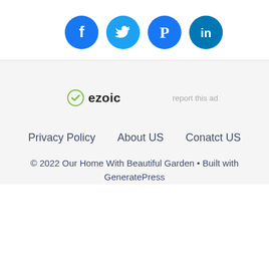[Figure (other): Social media icon buttons: Facebook (blue circle), Twitter (light blue circle), Pinterest (blue circle), LinkedIn (blue circle)]
[Figure (logo): Ezoic logo with green shield checkmark icon and bold 'ezoic' text]
report this ad
Privacy Policy    About US    Conatct US
© 2022 Our Home With Beautiful Garden • Built with GeneratePress